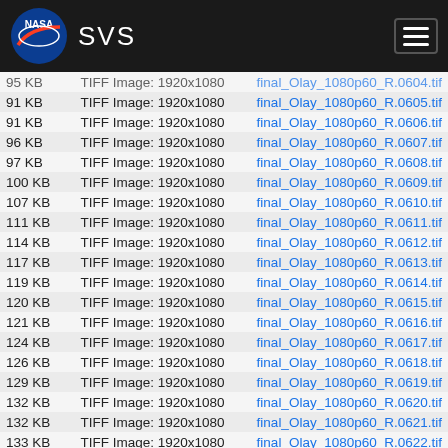NASA SVS
| Size | Type | Filename |
| --- | --- | --- |
| 95 KB | TIFF Image: 1920x1080 | final_Olay_1080p60_R.0604.tif |
| 91 KB | TIFF Image: 1920x1080 | final_Olay_1080p60_R.0605.tif |
| 91 KB | TIFF Image: 1920x1080 | final_Olay_1080p60_R.0606.tif |
| 96 KB | TIFF Image: 1920x1080 | final_Olay_1080p60_R.0607.tif |
| 97 KB | TIFF Image: 1920x1080 | final_Olay_1080p60_R.0608.tif |
| 100 KB | TIFF Image: 1920x1080 | final_Olay_1080p60_R.0609.tif |
| 107 KB | TIFF Image: 1920x1080 | final_Olay_1080p60_R.0610.tif |
| 111 KB | TIFF Image: 1920x1080 | final_Olay_1080p60_R.0611.tif |
| 114 KB | TIFF Image: 1920x1080 | final_Olay_1080p60_R.0612.tif |
| 117 KB | TIFF Image: 1920x1080 | final_Olay_1080p60_R.0613.tif |
| 119 KB | TIFF Image: 1920x1080 | final_Olay_1080p60_R.0614.tif |
| 120 KB | TIFF Image: 1920x1080 | final_Olay_1080p60_R.0615.tif |
| 121 KB | TIFF Image: 1920x1080 | final_Olay_1080p60_R.0616.tif |
| 124 KB | TIFF Image: 1920x1080 | final_Olay_1080p60_R.0617.tif |
| 126 KB | TIFF Image: 1920x1080 | final_Olay_1080p60_R.0618.tif |
| 129 KB | TIFF Image: 1920x1080 | final_Olay_1080p60_R.0619.tif |
| 132 KB | TIFF Image: 1920x1080 | final_Olay_1080p60_R.0620.tif |
| 132 KB | TIFF Image: 1920x1080 | final_Olay_1080p60_R.0621.tif |
| 133 KB | TIFF Image: 1920x1080 | final_Olay_1080p60_R.0622.tif |
| 136 KB | TIFF Image: 1920x1080 | final_Olay_1080p60_R.0623.tif |